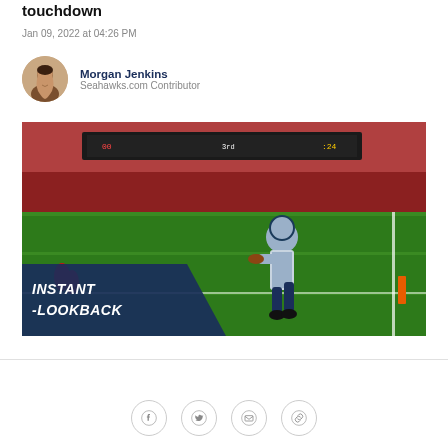touchdown
Jan 09, 2022 at 04:26 PM
Morgan Jenkins
Seahawks.com Contributor
[Figure (photo): A Seattle Seahawks player running into the end zone for a touchdown at a packed stadium, with an orange pylon visible and an 'INSTANT -LOOKBACK' graphic overlay in the bottom left corner.]
Social share icons: Facebook, Twitter, Email, Link